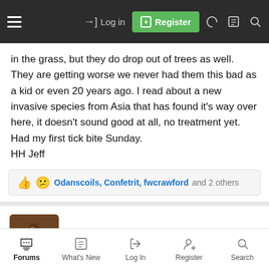Log in | Register
in the grass, but they do drop out of trees as well. They are getting worse we never had them this bad as a kid or even 20 years ago. I read about a new invasive species from Asia that has found it's way over here, it doesn't sound good at all, no treatment yet. Had my first tick bite Sunday.
HH Jeff
Odanscoils, Confetrit, fwcrawford and 2 others
fwcrawford
Well-known member
Apr 24, 2022 #12
As far as I am concerned, ticks are more dangerous than snakes and when roaming around in the woods to detect. I usually recommend
Forums | What's New | Log In | Register | Search